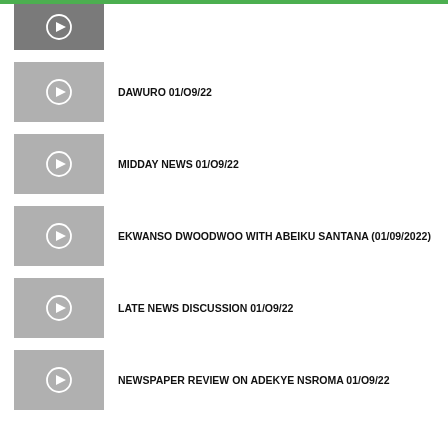[Figure (screenshot): Video thumbnail with play button - first item (partially visible)]
DAWURO 01/O9/22
MIDDAY NEWS 01/O9/22
EKWANSO DWOODWOO WITH ABEIKU SANTANA (01/09/2022)
LATE NEWS DISCUSSION 01/O9/22
NEWSPAPER REVIEW ON ADEKYE NSROMA 01/O9/22